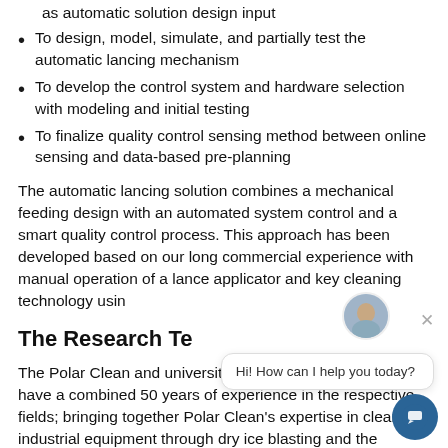as automatic solution design input
To design, model, simulate, and partially test the automatic lancing mechanism
To develop the control system and hardware selection with modeling and initial testing
To finalize quality control sensing method between online sensing and data-based pre-planning
The automatic lancing solution combines a mechanical feeding design with an automated system control and a smart quality control process. This approach has been developed based on our long commercial experience with manual operation of a lance applicator and key cleaning technology usin
The Research Te
The Polar Clean and university collaborators on this project have a combined 50 years of experience in the respective fields; bringing together Polar Clean's expertise in cleaning industrial equipment through dry ice blasting and the university team's expertise in